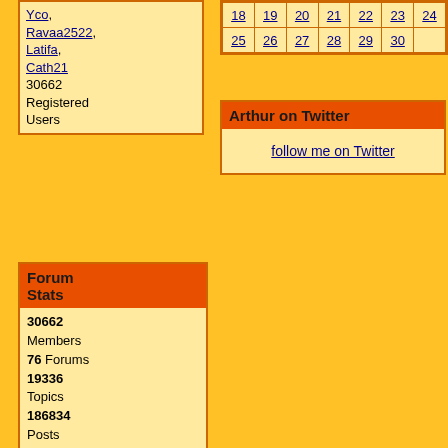Yco, Ravaa2522, Latifa, Cath21
30662 Registered Users
| 18 | 19 | 20 | 21 | 22 | 23 | 24 |
| 25 | 26 | 27 | 28 | 29 | 30 |
Arthur on Twitter
follow me on Twitter
Forum Stats
30662 Members
76 Forums
19336 Topics
186834 Posts

Max Online: 467 @ 01/20/20 02:20 PM
Mark all read  LDW_Custom ▾    Contact Us · Last Day of Work Main Site · Top
Generated in 0.034 seconds in which 0.009 seconds were spent on a total of 8 queries. Zlib compression disabled.
Powered by UBB.threads™ 7.4.1 okÂb»¾W